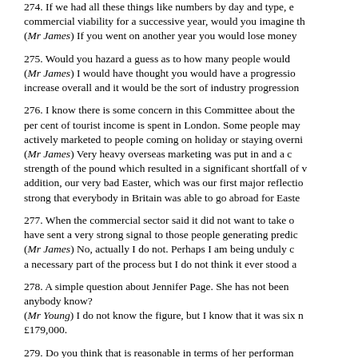274. If we had all these things like numbers by day and type, commercial viability for a successive year, would you imagine th
(Mr James) If you went on another year you would lose money
275. Would you hazard a guess as to how many people would
(Mr James) I would have thought you would have a progressio increase overall and it would be the sort of industry progression
276. I know there is some concern in this Committee about the per cent of tourist income is spent in London. Some people may actively marketed to people coming on holiday or staying overni
(Mr James) Very heavy overseas marketing was put in and a c strength of the pound which resulted in a significant shortfall of addition, our very bad Easter, which was our first major reflectio strong that everybody in Britain was able to go abroad for Easte
277. When the commercial sector said it did not want to take o have sent a very strong signal to those people generating predi
(Mr James) No, actually I do not. Perhaps I am being unduly c a necessary part of the process but I do not think it ever stood a
278. A simple question about Jennifer Page. She has not been anybody know?
(Mr Young) I do not know the figure, but I know that it was six £179,000.
279. Do you think that is reasonable in terms of her performan
(Mr James) I think that Jennie Page was a heroine. You are tal together a development like this which would have frightened of she delivered it on time, at a budget which was perceived to b